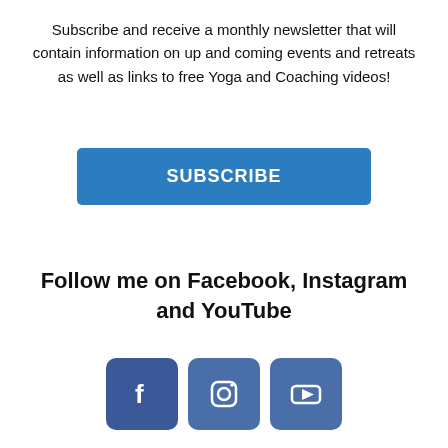Subscribe and receive a monthly newsletter that will contain information on up and coming events and retreats as well as links to free Yoga and Coaching videos!
[Figure (other): Blue SUBSCRIBE button]
Follow me on Facebook, Instagram and YouTube
[Figure (other): Row of three social media icons: Facebook, Instagram, YouTube — blue rounded square buttons]